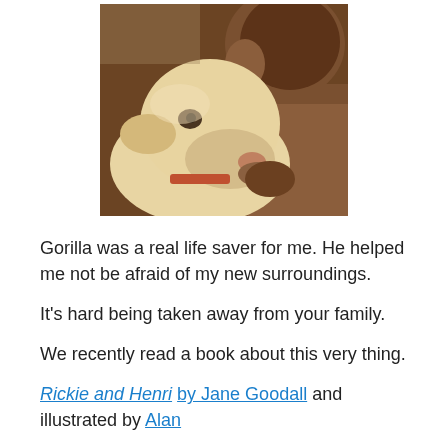[Figure (photo): A yellow Labrador dog resting its head against a large brown stuffed gorilla toy, appearing to cuddle or bite the toy's arm. Close-up photo with warm indoor lighting.]
Gorilla was a real life saver for me. He helped me not be afraid of my new surroundings.
It's hard being taken away from your family.
We recently read a book about this very thing.
Rickie and Henri by Jane Goodall and illustrated by Alan